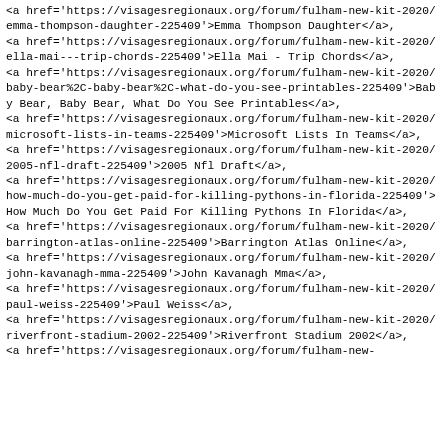<a href='https://visagesregionaux.org/forum/fulham-new-kit-2020/emma-thompson-daughter-225409'>Emma Thompson Daughter</a>,
<a href='https://visagesregionaux.org/forum/fulham-new-kit-2020/ella-mai---trip-chords-225409'>Ella Mai - Trip Chords</a>,
<a href='https://visagesregionaux.org/forum/fulham-new-kit-2020/baby-bear%2C-baby-bear%2C-what-do-you-see-printables-225409'>Baby Bear, Baby Bear, What Do You See Printables</a>,
<a href='https://visagesregionaux.org/forum/fulham-new-kit-2020/microsoft-lists-in-teams-225409'>Microsoft Lists In Teams</a>,
<a href='https://visagesregionaux.org/forum/fulham-new-kit-2020/2005-nfl-draft-225409'>2005 Nfl Draft</a>,
<a href='https://visagesregionaux.org/forum/fulham-new-kit-2020/how-much-do-you-get-paid-for-killing-pythons-in-florida-225409'>How Much Do You Get Paid For Killing Pythons In Florida</a>,
<a href='https://visagesregionaux.org/forum/fulham-new-kit-2020/barrington-atlas-online-225409'>Barrington Atlas Online</a>,
<a href='https://visagesregionaux.org/forum/fulham-new-kit-2020/john-kavanagh-mma-225409'>John Kavanagh Mma</a>,
<a href='https://visagesregionaux.org/forum/fulham-new-kit-2020/paul-weiss-225409'>Paul Weiss</a>,
<a href='https://visagesregionaux.org/forum/fulham-new-kit-2020/riverfront-stadium-2002-225409'>Riverfront Stadium 2002</a>,
<a href='https://visagesregionaux.org/forum/fulham-new-kit-2020/